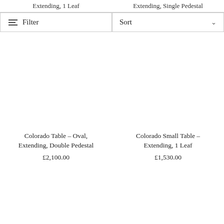Extending, 1 Leaf
Extending, Single Pedestal
Filter
Sort
Colorado Table – Oval, Extending, Double Pedestal
£2,100.00
Colorado Small Table – Extending, 1 Leaf
£1,530.00